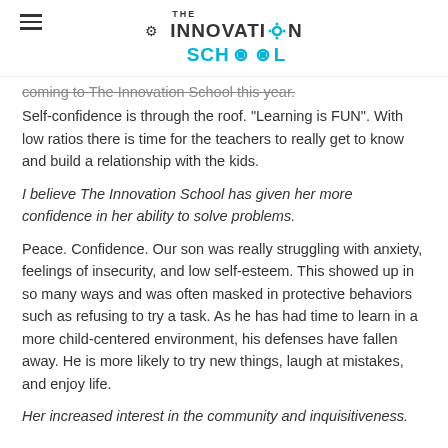THE INNOVATION SCHOOL
coming to The Innovation School this year. Self-confidence is through the roof. "Learning is FUN". With low ratios there is time for the teachers to really get to know and build a relationship with the kids.
I believe The Innovation School has given her more confidence in her ability to solve problems.
Peace. Confidence. Our son was really struggling with anxiety, feelings of insecurity, and low self-esteem. This showed up in so many ways and was often masked in protective behaviors such as refusing to try a task. As he has had time to learn in a more child-centered environment, his defenses have fallen away. He is more likely to try new things, laugh at mistakes, and enjoy life.
Her increased interest in the community and inquisitiveness.